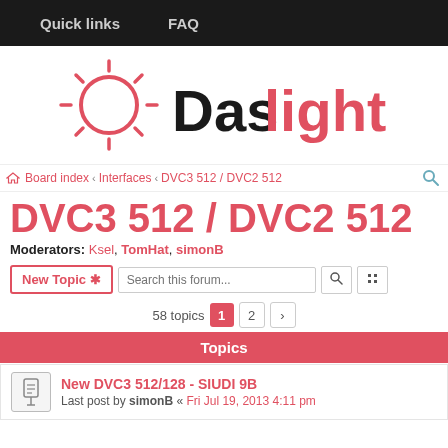Quick links  FAQ
[Figure (logo): Daslight logo with sun icon in red/pink and 'Daslight' text]
Board index › Interfaces › DVC3 512 / DVC2 512
DVC3 512 / DVC2 512
Moderators: Ksel, TomHat, simonB
New Topic  Search this forum...
58 topics  1  2  ›
Topics
New DVC3 512/128 - SIUDI 9B
Last post by simonB « Fri Jul 19, 2013 4:11 pm